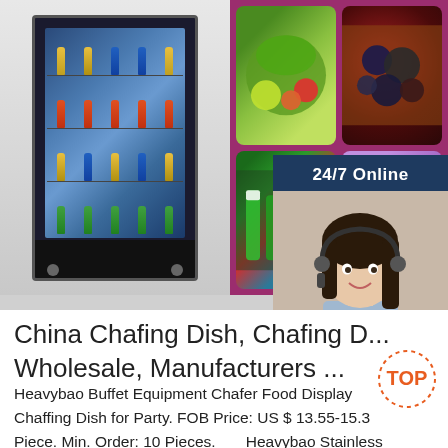[Figure (photo): Composite image: left side shows a beverage vending machine with glass door displaying bottles and drinks; right side shows a collage on dark pink/magenta background with four food/drink images: vegetables, berries, colorful bottles, and ice cream. A 24/7 Online chat widget with a customer service representative photo is overlaid on the right side, with a 'Click here for free chat!' message and orange QUOTATION button.]
China Chafing Dish, Chafing D... Wholesale, Manufacturers ...
Heavybao Buffet Equipment Chafer Food Display Chaffing Dish for Party. FOB Price: US $ 13.55-15.3 Piece. Min. Order: 10 Pieces. Heavybao Stainless Steel Foldable Chafing Dish Keep your food fresh and ready-to-serve with